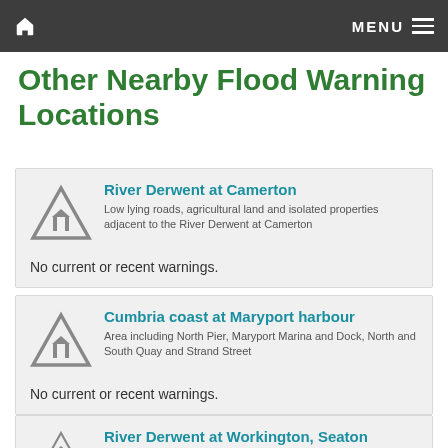Home  MENU
Other Nearby Flood Warning Locations
[Figure (illustration): Flood warning triangle icon with house silhouette inside]
River Derwent at Camerton
Low lying roads, agricultural land and isolated properties adjacent to the River Derwent at Camerton
No current or recent warnings.
[Figure (illustration): Flood warning triangle icon with house silhouette inside]
Cumbria coast at Maryport harbour
Area including North Pier, Maryport Marina and Dock, North and South Quay and Strand Street
No current or recent warnings.
[Figure (illustration): Flood warning triangle icon with house silhouette inside (partially visible)]
River Derwent at Workington, Seaton